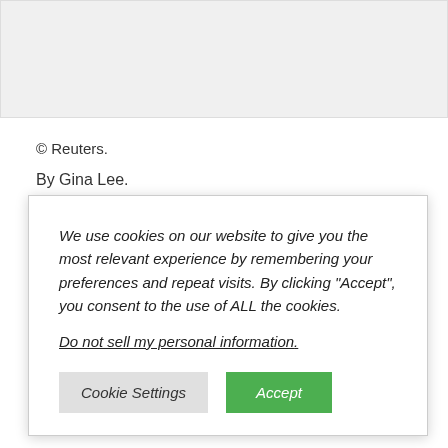[Figure (other): Advertisement banner placeholder (gray rectangle)]
© Reuters.
By Gina Lee.
We use cookies on our website to give you the most relevant experience by remembering your preferences and repeat visits. By clicking "Accept", you consent to the use of ALL the cookies.
Do not sell my personal information.
morning in Asia, boost. Investors later in the al Reserve will
T (4:05 AM versely to gold,
inched down and remained near two-week lows on